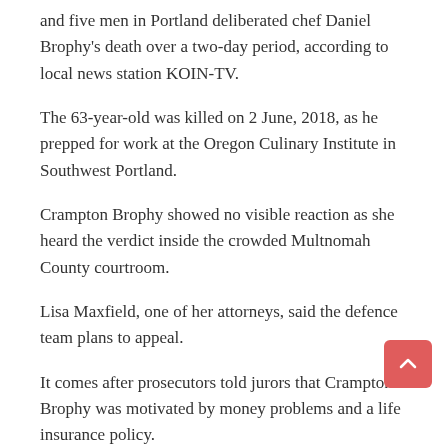and five men in Portland deliberated chef Daniel Brophy's death over a two-day period, according to local news station KOIN-TV.
The 63-year-old was killed on 2 June, 2018, as he prepped for work at the Oregon Culinary Institute in Southwest Portland.
Crampton Brophy showed no visible reaction as she heard the verdict inside the crowded Multnomah County courtroom.
Lisa Maxfield, one of her attorneys, said the defence team plans to appeal.
It comes after prosecutors told jurors that Crampton Brophy was motivated by money problems and a life insurance policy.
She said during the trial that she had no reason to kill her husband and that their financial problems had mostly been solved due to cashing in a portion of Brophy's retirement savings plan.